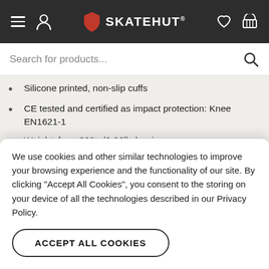SkateHut navigation bar with menu, user, logo, wishlist, and cart icons
Search for products...
Silicone printed, non-slip cuffs
CE tested and certified as impact protection: Knee EN1621-1
Weight: from 300g (0.66lbs) pair
Sizing:
Above/Below Knee
S: 33-37cm / 25-29cm
We use cookies and other similar technologies to improve your browsing experience and the functionality of our site. By clicking "Accept All Cookies", you consent to the storing on your device of all the technologies described in our Privacy Policy.
ACCEPT ALL COOKIES